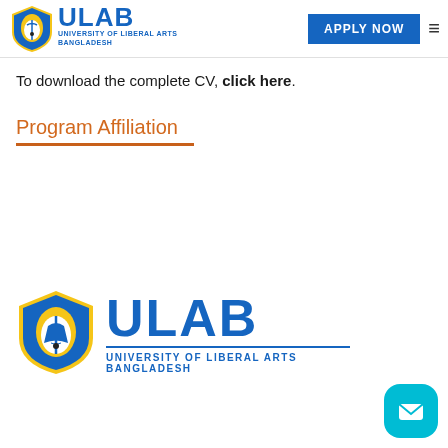[Figure (logo): ULAB (University of Liberal Arts Bangladesh) logo with shield and text in navbar]
APPLY NOW
To download the complete CV, click here.
Program Affiliation
[Figure (logo): Large ULAB (University of Liberal Arts Bangladesh) logo with shield emblem]
The University of Liberal Arts Bangladesh and its curricula are accredited by the University Grants Commission (UGC) of Bangladesh, and